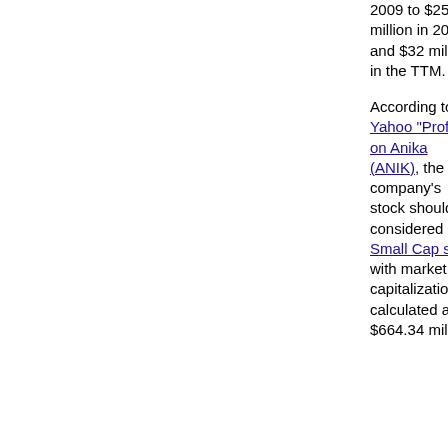2009 to $25 million in 2013 and $32 million in the TTM.
According to the Yahoo "Profile" on Anika (ANIK), the company's stock should be considered a Small Cap stock with market capitalization calculated at $664.34 million